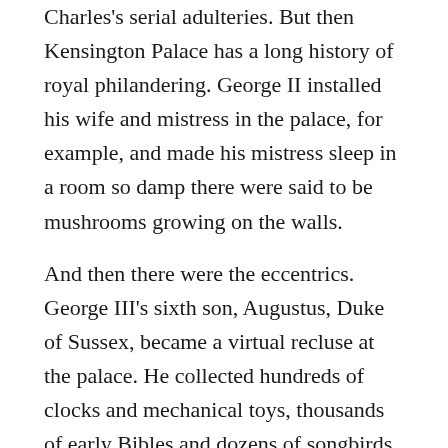Charles's serial adulteries. But then Kensington Palace has a long history of royal philandering. George II installed his wife and mistress in the palace, for example, and made his mistress sleep in a room so damp there were said to be mushrooms growing on the walls.
And then there were the eccentrics. George III's sixth son, Augustus, Duke of Sussex, became a virtual recluse at the palace. He collected hundreds of clocks and mechanical toys, thousands of early Bibles and dozens of songbirds that were allowed to fly freely through the royal apartments. Today, the palace is home to the future King William and his wife Catherine, and until recently home to the newly married Duke and Duchess of Sussex, Harry and Meghan.
The palace has been described as a royal menagerie, a hive of industrious freeloaders, an ant heap and even a lunatic